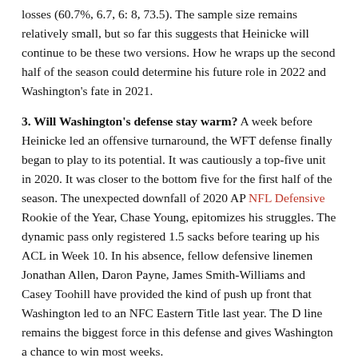losses (60.7%, 6.7, 6: 8, 73.5). The sample size remains relatively small, but so far this suggests that Heinicke will continue to be these two versions. How he wraps up the second half of the season could determine his future role in 2022 and Washington's fate in 2021.
3. Will Washington's defense stay warm? A week before Heinicke led an offensive turnaround, the WFT defense finally began to play to its potential. It was cautiously a top-five unit in 2020. It was closer to the bottom five for the first half of the season. The unexpected downfall of 2020 AP NFL Defensive Rookie of the Year, Chase Young, epitomizes his struggles. The dynamic pass only registered 1.5 sacks before tearing up his ACL in Week 10. In his absence, fellow defensive linemen Jonathan Allen, Daron Payne, James Smith-Williams and Casey Toohill have provided the kind of push up front that Washington led to an NFC Eastern Title last year. The D line remains the biggest force in this defense and gives Washington a chance to win most weeks.